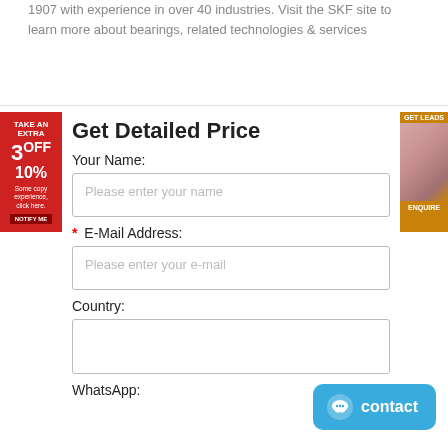1907 with experience in over 40 industries. Visit the SKF site to learn more about bearings, related technologies & services
Get Detailed Price
Your Name:
Please enter your name
* E-Mail Address:
Please enter your e-mail
Country:
WhatsApp: